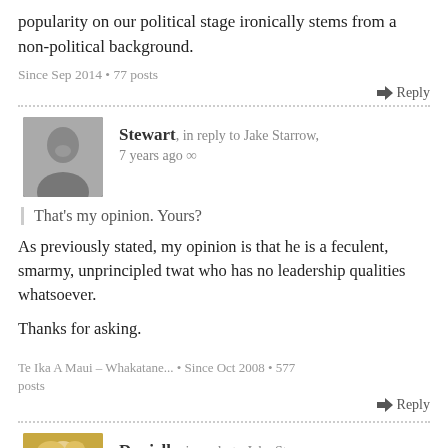popularity on our political stage ironically stems from a non-political background.
Since Sep 2014 • 77 posts
Reply
Stewart, in reply to Jake Starrow, 7 years ago ∞
That's my opinion. Yours?
As previously stated, my opinion is that he is a feculent, smarmy, unprincipled twat who has no leadership qualities whatsoever.
Thanks for asking.
Te Ika A Maui – Whakatane... • Since Oct 2008 • 577 posts
Reply
Danielle, in reply to Jake Starrow, 7 years ago ∞